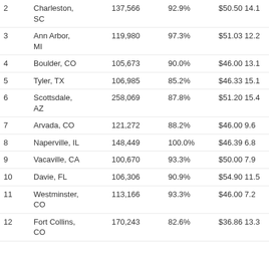| Rank | City | Population | Pct | Price/Score |
| --- | --- | --- | --- | --- |
| 2 | Charleston, SC | 137,566 | 92.9% | $50.50 14.1 |
| 3 | Ann Arbor, MI | 119,980 | 97.3% | $51.03 12.2 |
| 4 | Boulder, CO | 105,673 | 90.0% | $46.00 13.1 |
| 5 | Tyler, TX | 106,985 | 85.2% | $46.33 15.1 |
| 6 | Scottsdale, AZ | 258,069 | 87.8% | $51.20 15.4 |
| 7 | Arvada, CO | 121,272 | 88.2% | $46.00 9.6 |
| 8 | Naperville, IL | 148,449 | 100.0% | $46.39 6.8 |
| 9 | Vacaville, CA | 100,670 | 93.3% | $50.00 7.9 |
| 10 | Davie, FL | 106,306 | 90.9% | $54.90 11.5 |
| 11 | Westminster, CO | 113,166 | 93.3% | $46.00 7.2 |
| 12 | Fort Collins, CO | 170,243 | 82.6% | $36.86 13.3 |